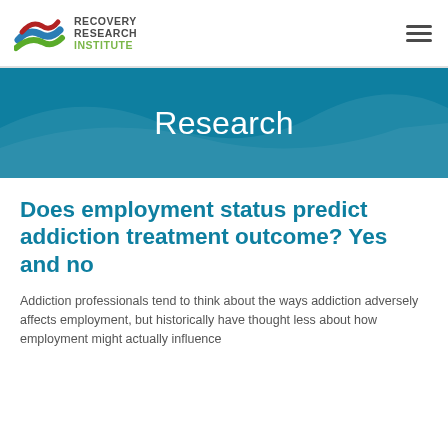[Figure (logo): Recovery Research Institute logo with stylized blue, red, and green wave shapes and text RECOVERY RESEARCH INSTITUTE]
Recovery Research Institute — navigation header with hamburger menu icon
Research
Does employment status predict addiction treatment outcome? Yes and no
Addiction professionals tend to think about the ways addiction adversely affects employment, but historically have thought less about how employment might actually influence